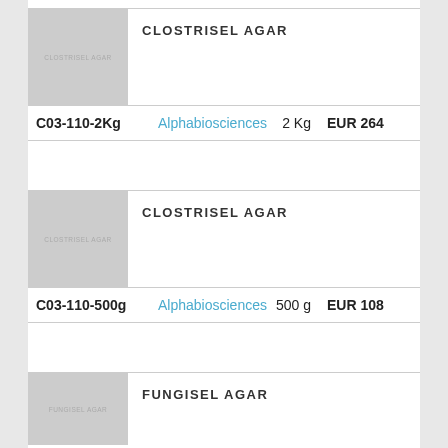[Figure (photo): Product image placeholder for CLOSTRISEL AGAR (grey box with text)]
CLOSTRISEL AGAR
| Code | Supplier | Qty | Price |
| --- | --- | --- | --- |
| C03-110-2Kg | Alphabiosciences | 2 Kg | EUR 264 |
[Figure (photo): Product image placeholder for CLOSTRISEL AGAR (grey box with text)]
CLOSTRISEL AGAR
| Code | Supplier | Qty | Price |
| --- | --- | --- | --- |
| C03-110-500g | Alphabiosciences | 500 g | EUR 108 |
[Figure (photo): Product image placeholder for FUNGISEL AGAR (grey box with text)]
FUNGISEL AGAR